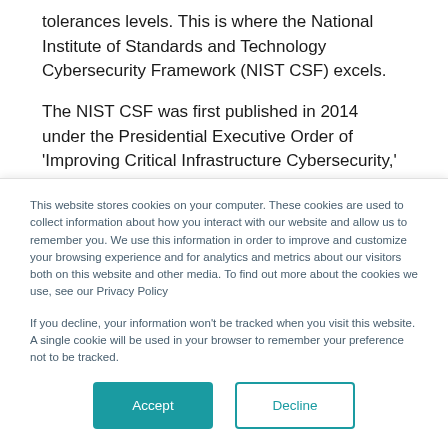tolerances levels. This is where the National Institute of Standards and Technology Cybersecurity Framework (NIST CSF) excels.
The NIST CSF was first published in 2014 under the Presidential Executive Order of ‘Improving Critical Infrastructure Cybersecurity,’ which called for a standardized security framework. Existing frameworks and
This website stores cookies on your computer. These cookies are used to collect information about how you interact with our website and allow us to remember you. We use this information in order to improve and customize your browsing experience and for analytics and metrics about our visitors both on this website and other media. To find out more about the cookies we use, see our Privacy Policy
If you decline, your information won’t be tracked when you visit this website. A single cookie will be used in your browser to remember your preference not to be tracked.